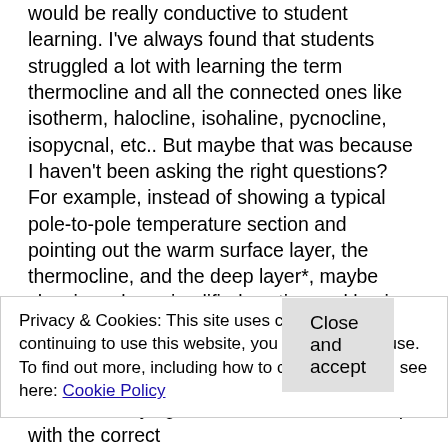would be really conductive to student learning. I've always found that students struggled a lot with learning the term thermocline and all the connected ones like isotherm, halocline, isohaline, pycnocline, isopycnal, etc.. But maybe that was because I haven't been asking the right questions? For example, instead of showing a typical pole-to-pole temperature section and pointing out the warm surface layer, the thermocline, and the deep layer*, maybe showing a less simplified section and having the students come up with their own classification of layers would be more helpful? Or asking why defining something like a thermocline might be useful for oceanographers, hence motivating why it might be useful to learn what we mean by thermocline.
Privacy & Cookies: This site uses cookies. By continuing to use this website, you agree to their use.
To find out more, including how to control cookies, see here: Cookie Policy
Close and accept
rather than trying to make students come up with the correct